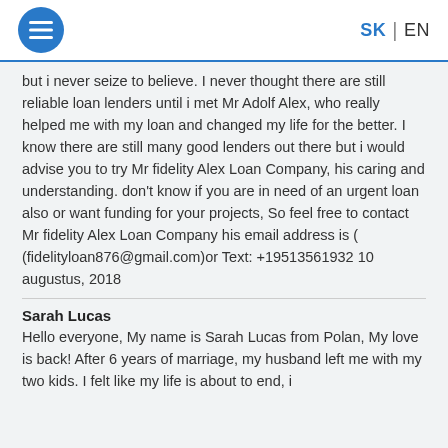SK | EN
but i never seize to believe. I never thought there are still reliable loan lenders until i met Mr Adolf Alex, who really helped me with my loan and changed my life for the better. I know there are still many good lenders out there but i would advise you to try Mr fidelity Alex Loan Company, his caring and understanding. don't know if you are in need of an urgent loan also or want funding for your projects, So feel free to contact Mr fidelity Alex Loan Company his email address is ( (fidelityloan876@gmail.com)or Text: +19513561932 10 augustus, 2018
Sarah Lucas
Hello everyone, My name is Sarah Lucas from Polan, My love is back! After 6 years of marriage, my husband left me with my two kids. I felt like my life is about to end, i